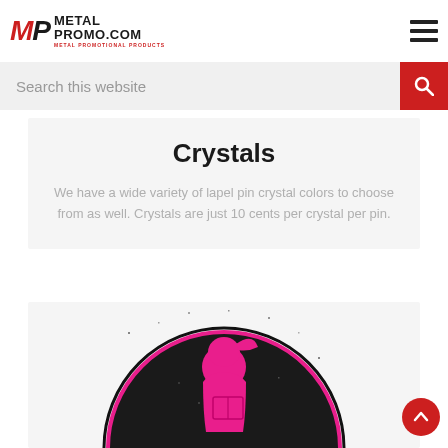METAL PROMO.COM - Metal Promotional Products
Search this website
Crystals
We have a wide variety of lapel pin crystal colors to choose from as well. Crystals are just 10 cents per crystal per pin.
[Figure (photo): A circular lapel pin with a black glitter background showing a pink silhouette of a girl with a ponytail holding a book, outlined in pink/black.]